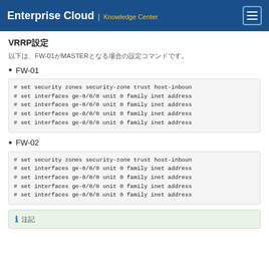Enterprise Cloud | Knowledge Center
VRRP設定
以下は、FW-01がMASTERとなる場合の設定コマンドです。
FW-01
# set security zones security-zone trust host-inbound-...
# set interfaces ge-0/0/0 unit 0 family inet address ...
# set interfaces ge-0/0/0 unit 0 family inet address ...
# set interfaces ge-0/0/0 unit 0 family inet address ...
# set interfaces ge-0/0/0 unit 0 family inet address ...
FW-02
# set security zones security-zone trust host-inbound-...
# set interfaces ge-0/0/0 unit 0 family inet address ...
# set interfaces ge-0/0/0 unit 0 family inet address ...
# set interfaces ge-0/0/0 unit 0 family inet address ...
# set interfaces ge-0/0/0 unit 0 family inet address ...
ℹ 注記